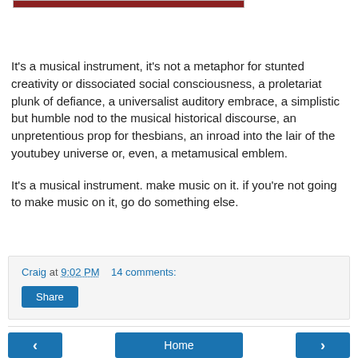[Figure (photo): Partial image strip visible at top of page]
It's a musical instrument, it's not a metaphor for stunted creativity or dissociated social consciousness, a proletariat plunk of defiance, a universalist auditory embrace, a simplistic but humble nod to the musical historical discourse, an unpretentious prop for thesbians, an inroad into the lair of the youtubey universe or, even, a metamusical emblem.
It's a musical instrument. make music on it. if you're not going to make music on it, go do something else.
Craig at 9:02 PM    14 comments:
Share
< Home >